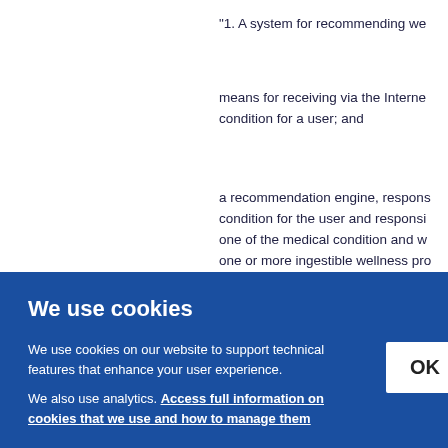"1. A system for recommending we
means for receiving via the Interne condition for a user; and
a recommendation engine, respons condition for the user and responsi one of the medical condition and w one or more ingestible wellness pro
We use cookies
We use cookies on our website to support technical features that enhance your user experience.
We also use analytics. Access full information on cookies that we use and how to manage them